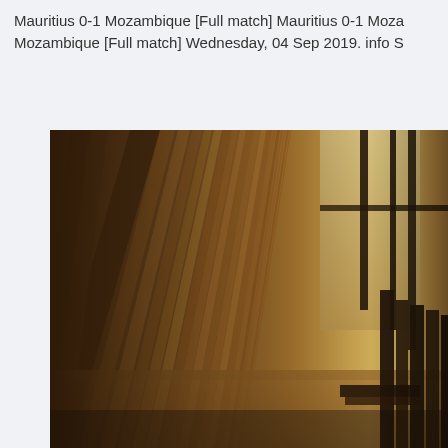Mauritius 0-1 Mozambique [Full match] Mauritius 0-1 Mozambique [Full match] Wednesday, 04 Sep 2019. info S
[Figure (photo): Close-up photograph of stacked books or papers seen from the side, with warm golden light coming through a window with dark panes in the background and stacked dark items visible on the right side.]